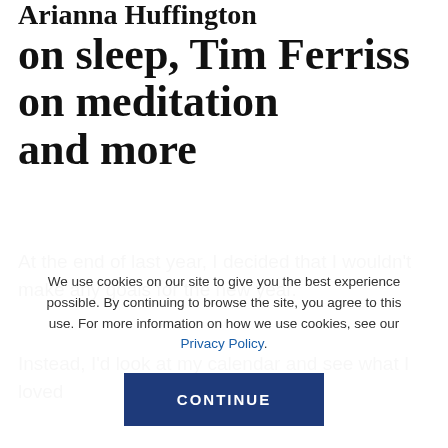Arianna Huffington on sleep, Tim Ferriss on meditation and more
At the end of last year, I decided that I wouldn't make any goals for the new year.
Instead, I'd look at my calendar and see what I loved
We use cookies on our site to give you the best experience possible. By continuing to browse the site, you agree to this use. For more information on how we use cookies, see our Privacy Policy.
CONTINUE